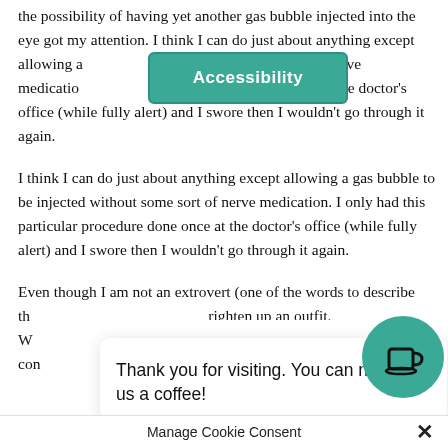the possibility of having yet another gas bubble injected into the eye got my attention. I think I can do just about anything except allowing a [obscured] ted without some sort of nerve medication [obscured] cular procedure done once at the doctor's office (while fully alert) and I swore then I wouldn't go through it again.
[Figure (screenshot): Accessibility button overlay in teal/green color with white bold text reading 'Accessibility']
I think I can do just about anything except allowing a gas bubble to be injected without some sort of nerve medication. I only had this particular procedure done once at the doctor's office (while fully alert) and I swore then I wouldn't go through it again.
Even though I am not an extrovert (one of the words to describe th[obscured] righten up an outfit. W[obscured] onfident that I'll feel con[obscured]
[Figure (screenshot): Cookie consent popup with text 'Thank you for visiting. You can now buy us a coffee!' and a teal coffee cup icon circle, plus 'Manage Cookie Consent' label and X close button]